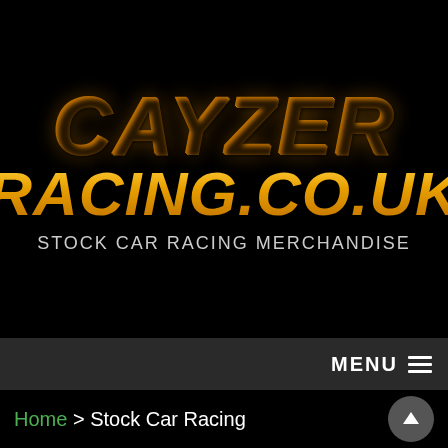[Figure (logo): Cayzer Racing .co.uk logo with golden italic text on black background, with tagline STOCK CAR RACING MERCHANDISE below]
MENU ≡
Home > Stock Car Racing